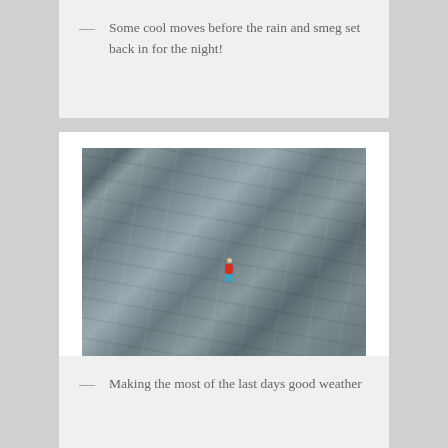Some cool moves before the rain and smeg set back in for the night!
[Figure (photo): Rock climber in a red top ascending a large grey rock face. Another person visible at the bottom right in a yellow jacket.]
Making the most of the last days good weather